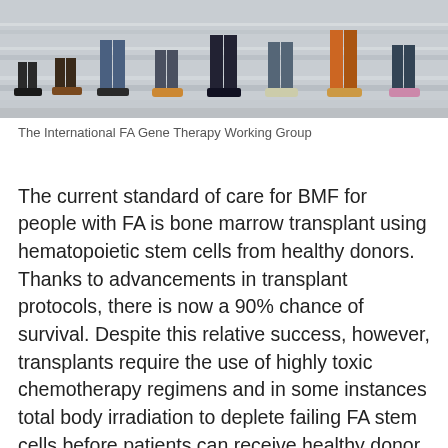[Figure (photo): Group photo showing people seated on stone steps, only their legs and feet visible from approximately the knee down. Various colored shoes and pants/jeans visible.]
The International FA Gene Therapy Working Group
The current standard of care for BMF for people with FA is bone marrow transplant using hematopoietic stem cells from healthy donors. Thanks to advancements in transplant protocols, there is now a 90% chance of survival. Despite this relative success, however, transplants require the use of highly toxic chemotherapy regimens and in some instances total body irradiation to deplete failing FA stem cells before patients can receive healthy donor stem cells. These toxic regimens lead to whole-body DNA damage and increase the risk for the development of graft-versus-host disease (GvHD) and squamous cell cancers in an already at-risk population. That’s where gene therapy